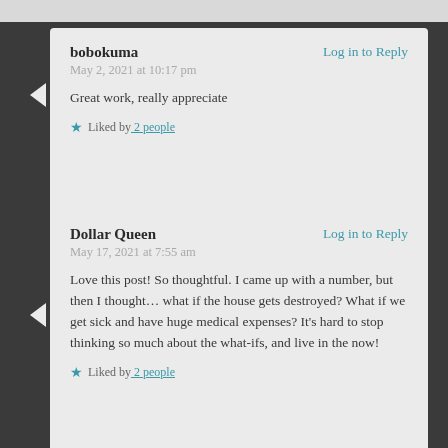bobokuma
Log in to Reply
May 2, 2021 at 10:17 pm
Great work, really appreciate
Liked by 2 people
Dollar Queen
Log in to Reply
May 17, 2021 at 7:55 am
Love this post! So thoughtful. I came up with a number, but then I thought… what if the house gets destroyed? What if we get sick and have huge medical expenses? It's hard to stop thinking so much about the what-ifs, and live in the now!
Liked by 2 people